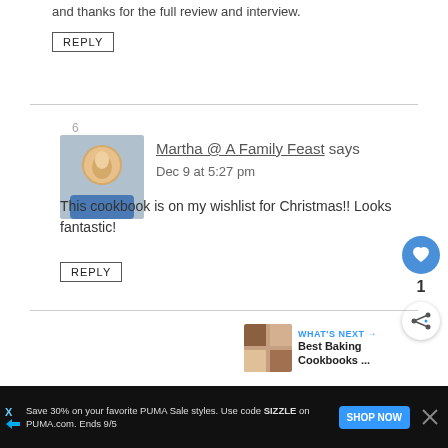and thanks for the full review and interview.
REPLY
6
Martha @ A Family Feast says
Dec 9 at 5:27 pm
This cookbook is on my wishlist for Christmas!! Looks fantastic!
REPLY
WHAT'S NEXT → Best Baking Cookbooks ...
Save 30% on your favorite PUMA Sale styles. Use code SIZZLE on PUMA.com. Ends 9/5
SHOP NOW